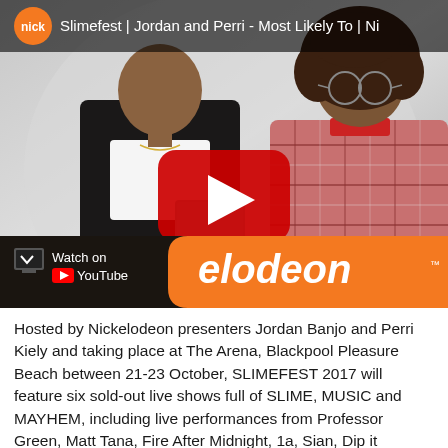[Figure (screenshot): YouTube video thumbnail showing a Nickelodeon video titled 'Slimefest | Jordan and Perri - Most Likely To | Ni...' with two people (Jordan Banjo and Perri Kiely) holding what appears to be a card. Nick logo in top left corner. YouTube play button in center. 'Watch on YouTube' bar at bottom left and Nickelodeon orange branded bar at bottom right showing 'elodeon'.]
Hosted by Nickelodeon presenters Jordan Banjo and Perri Kiely and taking place at The Arena, Blackpool Pleasure Beach between 21-23 October, SLIMEFEST 2017 will feature six sold-out live shows full of SLIME, MUSIC and MAYHEM, including live performances from Professor Green, Matt Tana, Fire After Midnight, 1a, Sian, Dip it...